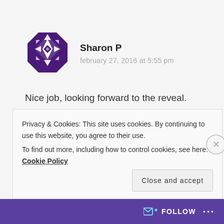[Figure (logo): Purple geometric star/diamond quilt pattern avatar icon for user Sharon P]
Sharon P
february 27, 2016 at 5:55 pm
Nice job, looking forward to the reveal.
Like
Reply
Privacy & Cookies: This site uses cookies. By continuing to use this website, you agree to their use.
To find out more, including how to control cookies, see here: Cookie Policy
Close and accept
FOLLOW